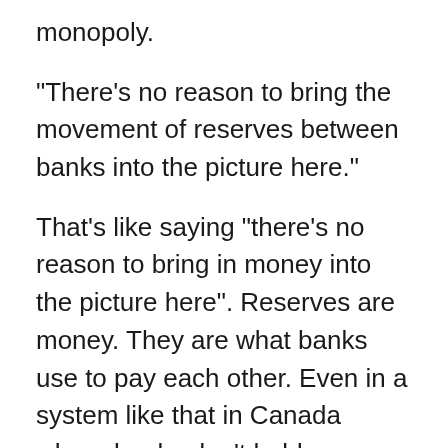monopoly.
"There's no reason to bring the movement of reserves between banks into the picture here."
That's like saying "there's no reason to bring in money into the picture here". Reserves are money. They are what banks use to pay each other. Even in a system like that in Canada where banks don't hold reserve balances overnight, they still pay each other with reserves, reserves still move between bank reserve accounts. They are what banks use to pay each